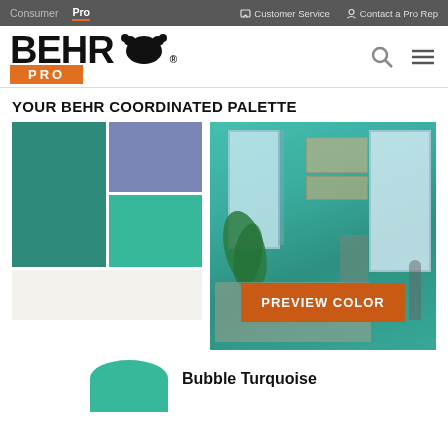Consumer  Pro    Customer Service   Contact a Pro Rep
[Figure (logo): BEHR PRO logo with bear silhouette]
YOUR BEHR COORDINATED PALETTE
[Figure (illustration): Color swatch panel showing teal, blue-gray, mint green, and off-white swatches arranged in a grid]
[Figure (photo): Room scene with teal walls, white windows, artwork, plant, and sofa with orange PREVIEW COLOR button overlay]
Bubble Turquoise